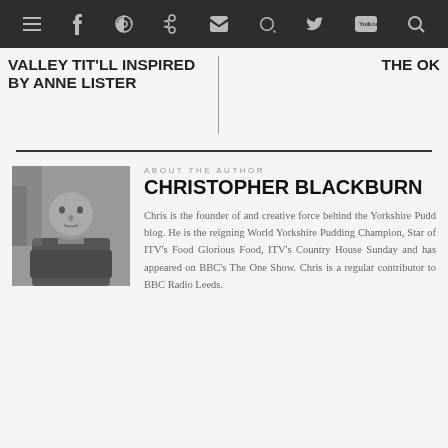≡  f  g+  ◎  ℗  ⊕  🐦  You Tube  🔍
VALLEY TIT'LL INSPIRED BY ANNE LISTER
THE OK
ABOUT THE AUTHOR
CHRISTOPHER BLACKBURN
[Figure (photo): Black and white headshot photo of Christopher Blackburn, a bald man with arms crossed, wearing a dark vest, outdoors]
Chris is the founder of and creative force behind the Yorkshire Pudd blog. He is the reigning World Yorkshire Pudding Champion, Star of ITV's Food Glorious Food, ITV's Country House Sunday and has appeared on BBC's The One Show. Chris is a regular contributor to BBC Radio Leeds.